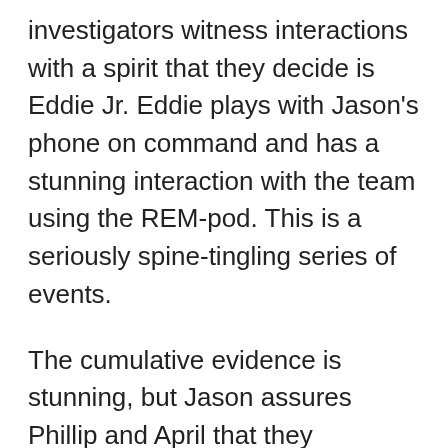investigators witness interactions with a spirit that they decide is Eddie Jr. Eddie plays with Jason's phone on command and has a stunning interaction with the team using the REM-pod. This is a seriously spine-tingling series of events.
The cumulative evidence is stunning, but Jason assures Phillip and April that they shouldn't be afraid. This is an intelligent haunt, but also a playful haunt that is most likely a child. They should continue on with their exhibit knowing they have a happy ghost in their midst.
Thanks for the 11 seasons, TAPS.